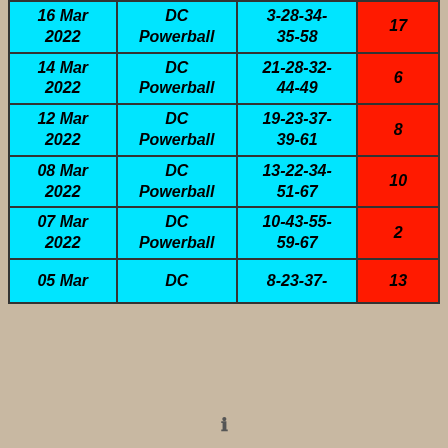| Date | Game | Numbers | Powerball |
| --- | --- | --- | --- |
| 16 Mar 2022 | DC Powerball | 3-28-34-35-58 | 17 |
| 14 Mar 2022 | DC Powerball | 21-28-32-44-49 | 6 |
| 12 Mar 2022 | DC Powerball | 19-23-37-39-61 | 8 |
| 08 Mar 2022 | DC Powerball | 13-22-34-51-67 | 10 |
| 07 Mar 2022 | DC Powerball | 10-43-55-59-67 | 2 |
| 05 Mar | DC Powerball | 8-23-37-... | 13 |